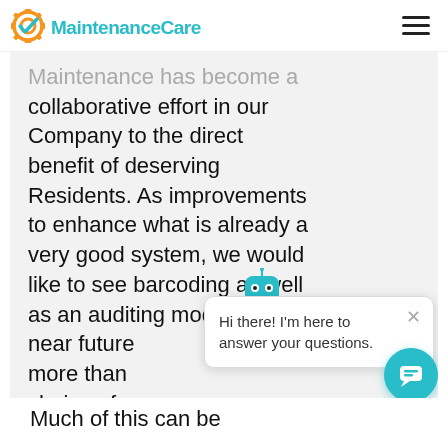MaintenanceCare
Maintenance has become a collaborative effort in our Company to the direct benefit of deserving Residents. As improvements to enhance what is already a very good system, we would like to see barcoding as well as an auditing module in the near future ... more than ... choice of p... our associa... ..... Maintenance Care as a Company.
[Figure (screenshot): Chatbot popup with robot icon and message: Hi there! I'm here to answer your questions. Close button (x) and teal chat FAB button visible.]
Much of this can be